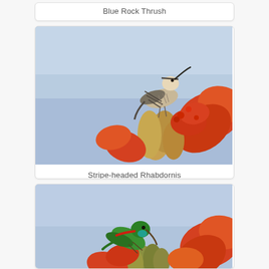Blue Rock Thrush
[Figure (photo): Stripe-headed Rhabdornis perched on red tropical flowers against a blue sky background]
Stripe-headed Rhabdornis
[Figure (photo): Green bird (likely a leafbird or similar) feeding on red tropical flowers against a blue sky background]